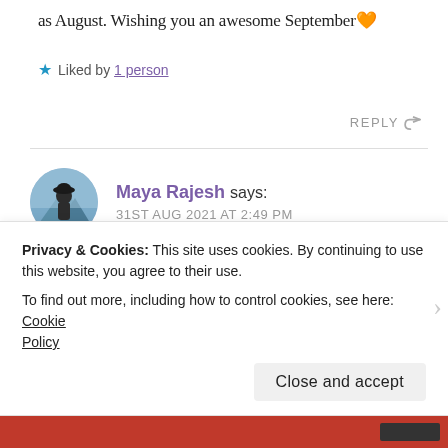as August. Wishing you an awesome September 🧡
★ Liked by 1 person
REPLY ↩
Maya Rajesh says: 31ST AUG 2021 AT 2:49 PM
I totally agree! I did NOT expect Justin to win, honestly! He wasn't even featured in the
Privacy & Cookies: This site uses cookies. By continuing to use this website, you agree to their use. To find out more, including how to control cookies, see here: Cookie Policy
Close and accept